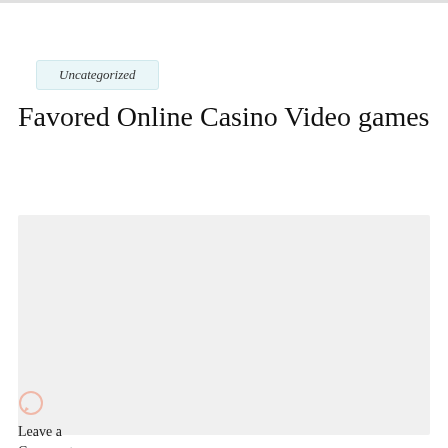Uncategorized
Favored Online Casino Video games
[Figure (photo): Gray placeholder image block]
Leave a Comment